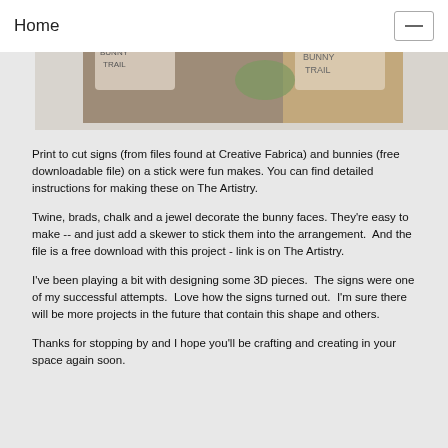Home
[Figure (photo): A photo strip showing craft signs with 'BUNNY TRAIL' text and decorative elements on what appears to be a wooden surface.]
Print to cut signs (from files found at Creative Fabrica) and bunnies (free downloadable file) on a stick were fun makes. You can find detailed instructions for making these on The Artistry.
Twine, brads, chalk and a jewel decorate the bunny faces. They're easy to make -- and just add a skewer to stick them into the arrangement.  And the file is a free download with this project - link is on The Artistry.
I've been playing a bit with designing some 3D pieces.  The signs were one of my successful attempts.  Love how the signs turned out.  I'm sure there will be more projects in the future that contain this shape and others.
Thanks for stopping by and I hope you'll be crafting and creating in your space again soon.